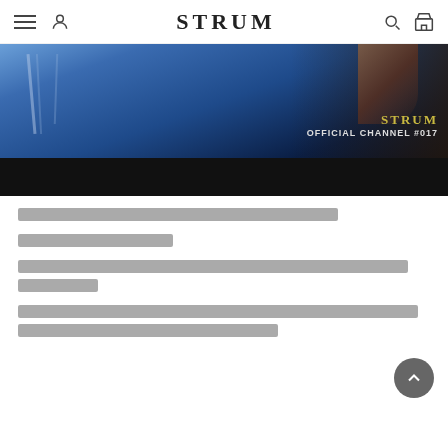STRUM
[Figure (photo): Blue leather jacket close-up photo with STRUM OFFICIAL CHANNEL #017 text overlay and black bottom bar]
Thai text paragraph placeholder (title line)
Thai text paragraph (short line)
Thai text paragraph (two-line block)
Thai text paragraph (two-line block 2)